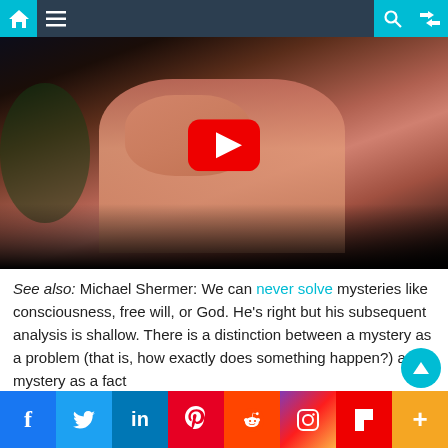[Figure (screenshot): Website navigation bar with home icon, hamburger menu, search icon, and shuffle icon on dark navy background with teal accent icons]
[Figure (screenshot): YouTube video thumbnail showing a person in a pink shirt gesturing, with a red YouTube play button overlay on a dark background]
See also: Michael Shermer: We can never solve mysteries like consciousness, free will, or God. He's right but his subsequent analysis is shallow. There is a distinction between a mystery as a problem (that is, how exactly does something happen?) and a mystery as a fact
[Figure (screenshot): Social media share bar with icons for Facebook, Twitter, LinkedIn, Pinterest, Reddit, Instagram, Flipboard, and a plus/more button]